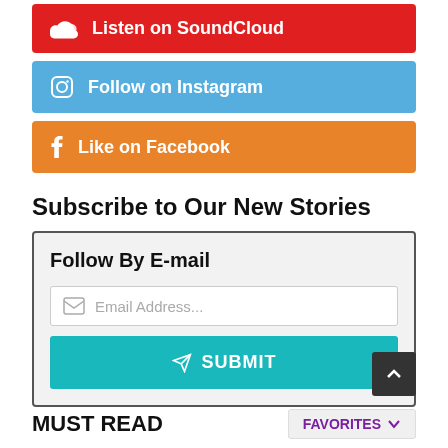[Figure (infographic): Red button: Listen on SoundCloud with SoundCloud cloud icon]
[Figure (infographic): Blue button: Follow on Instagram with Instagram camera icon]
[Figure (infographic): Orange button: Like on Facebook with Facebook F icon]
Subscribe to Our New Stories
Follow By E-mail
Email Address...
SUBMIT
MUST READ
FAVORITES